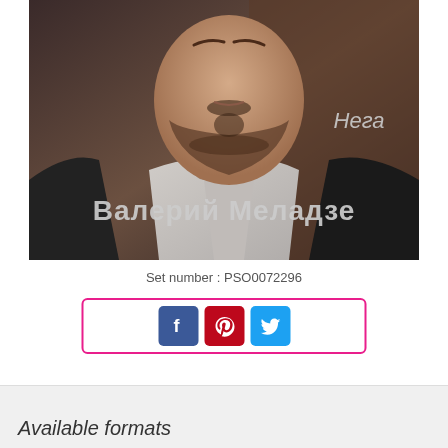[Figure (photo): Album cover for 'Нега' by Валерий Меладзе. Shows a close-up of a man in a suit with a beard and goatee. Text overlaid: 'Нега' in top right and 'Валерий Меладзе' in large text at the bottom.]
Set number : PSO0072296
[Figure (other): Social sharing buttons row with Facebook (blue), Pinterest (red), and Twitter (light blue) icons inside a pink-bordered rectangle]
Available formats